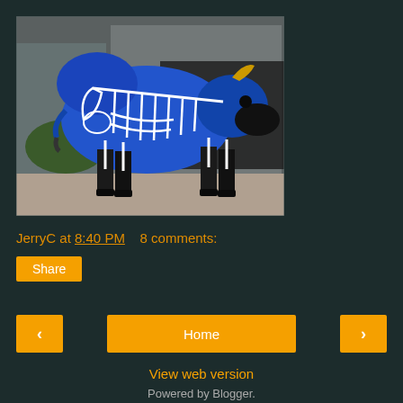[Figure (photo): A painted bison sculpture with a blue body and white skeleton design painted on it, black legs, displayed outdoors on a sidewalk]
JerryC at 8:40 PM    8 comments:
Share
< Home >
View web version
Powered by Blogger.